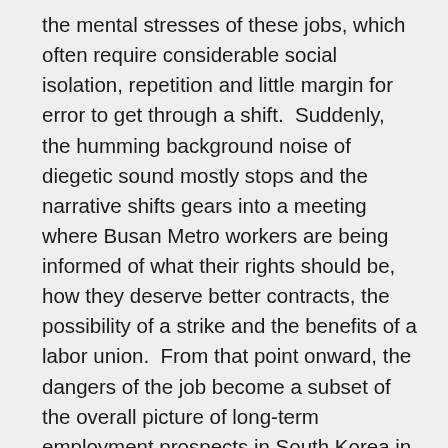the mental stresses of these jobs, which often require considerable social isolation, repetition and little margin for error to get through a shift.  Suddenly, the humming background noise of diegetic sound mostly stops and the narrative shifts gears into a meeting where Busan Metro workers are being informed of what their rights should be, how they deserve better contracts, the possibility of a strike and the benefits of a labor union.  From that point onward, the dangers of the job become a subset of the overall picture of long-term employment prospects in South Korea in general – far more bleak than optimistic.  One subject, a recent high school graduate, speaks of the dilemma of whether to enter the workforce right away or pursue university studies.  By choosing the former manual labor route, he reasons, he will save his family several years of tuition money for a degree that will likely not guarantee employment anyway.